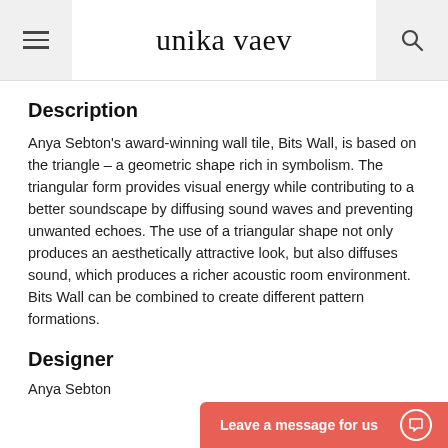unika vaev
Description
Anya Sebton's award-winning wall tile, Bits Wall, is based on the triangle – a geometric shape rich in symbolism. The triangular form provides visual energy while contributing to a better soundscape by diffusing sound waves and preventing unwanted echoes. The use of a triangular shape not only produces an aesthetically attractive look, but also diffuses sound, which produces a richer acoustic room environment. Bits Wall can be combined to create different pattern formations.
Designer
Anya Sebton
Leave a message for us